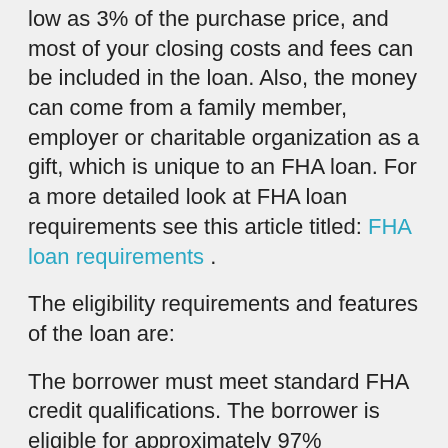low as 3% of the purchase price, and most of your closing costs and fees can be included in the loan. Also, the money can come from a family member, employer or charitable organization as a gift, which is unique to an FHA loan. For a more detailed look at FHA loan requirements see this article titled: FHA loan requirements .
The eligibility requirements and features of the loan are:
The borrower must meet standard FHA credit qualifications. The borrower is eligible for approximately 97% financing. The borrower is able to finance the upfront mortgage insurance premium into the mortgage. The borrower will also be responsible for paying an annual premium. Eligible properties are one-to-four unit structures. The tax credit is available for first-time home buyers only. The maximum credit amount is $8,000. Single taxpayers with incomes up to $75,000 and married couples with incomes up to $150,000 qualify for the full tax credit.
You can learn more about the mortgage limits in